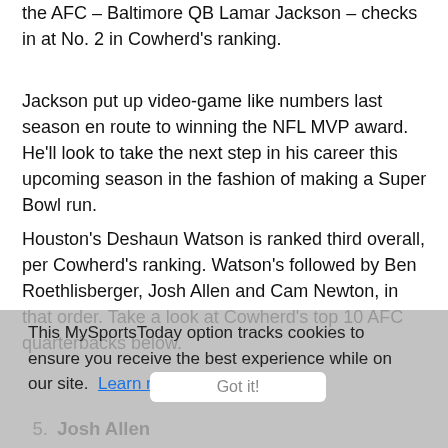the AFC – Baltimore QB Lamar Jackson – checks in at No. 2 in Cowherd's ranking.
Jackson put up video-game like numbers last season en route to winning the NFL MVP award. He'll look to take the next step in his career this upcoming season in the fashion of making a Super Bowl run.
Houston's Deshaun Watson is ranked third overall, per Cowherd's ranking. Watson's followed by Ben Roethlisberger, Josh Allen and Cam Newton, in that order. Take a look at Cowherd's top 10 AFC quarterbacks below.
This MySportsToday option tracks cookies to ensure you receive the best experience while on our site. Learn more
1. Patrick Mahomes
2. Lamar Jackson
3. Deshaun Watson   Got it!
4. Ben Roethlisberger
5. Josh Allen